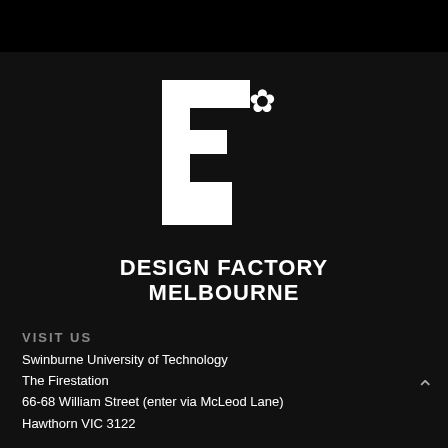[Figure (logo): Design Factory Melbourne logo: white stylized F with asterisk/flower symbol, on black background, with 'DESIGN FACTORY MELBOURNE' text below]
VISIT US
Swinburne University of Technology
The Firestation
66-68 William Street (enter via McLeod Lane)
Hawthorn VIC 3122
CONTACT US
dfm@swin.edu.au